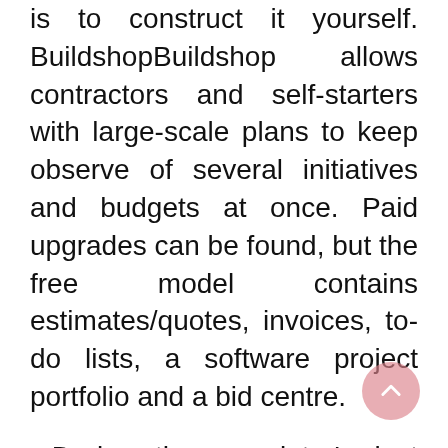is to construct it yourself. BuildshopBuildshop allows contractors and self-starters with large-scale plans to keep observe of several initiatives and budgets at once. Paid upgrades can be found, but the free model contains estimates/quotes, invoices, to-do lists, a software project portfolio and a bid centre.
During the proprietor's last open house, I went in to test it out, and immediately noticed why the home hasn't bought.
Come alongside and see how your home and your garden are solely